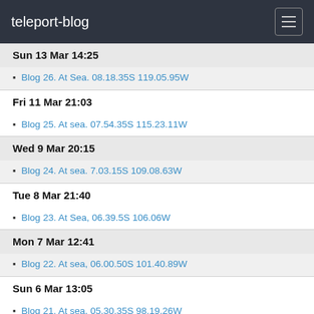teleport-blog
Sun 13 Mar 14:25
Blog 26. At Sea. 08.18.35S 119.05.95W
Fri 11 Mar 21:03
Blog 25. At sea. 07.54.35S 115.23.11W
Wed 9 Mar 20:15
Blog 24. At sea. 7.03.15S 109.08.63W
Tue 8 Mar 21:40
Blog 23. At Sea, 06.39.5S 106.06W
Mon 7 Mar 12:41
Blog 22. At sea, 06.00.50S 101.40.89W
Sun 6 Mar 13:05
Blog 21. At sea, 05.30.35S 98.19.26W
Sat 5 Mar 09:33
Blog 20. 04.41.48S 95.28.71W
Fri 4 Mar 08:40